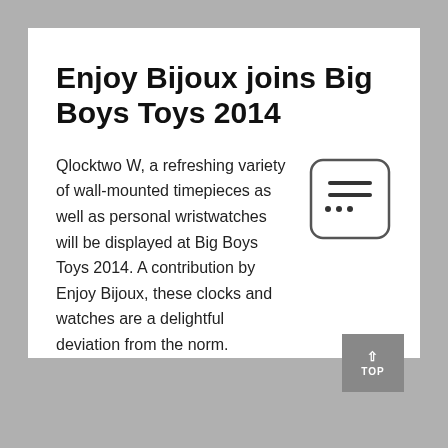Enjoy Bijoux joins Big Boys Toys 2014
Qlocktwo W, a refreshing variety of wall-mounted timepieces as well as personal wristwatches will be displayed at Big Boys Toys 2014. A contribution by Enjoy Bijoux, these clocks and watches are a delightful deviation from the norm.
[Figure (other): Menu/hamburger icon in a rounded rectangle box]
TOP